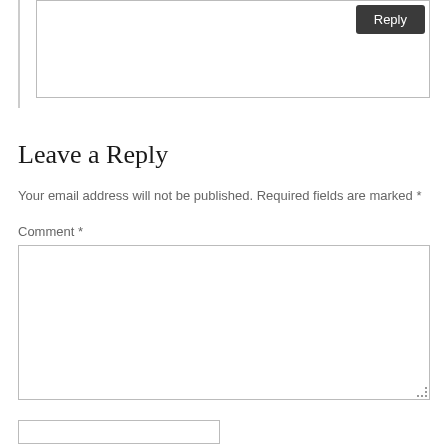[Figure (screenshot): Top portion of a comment section showing a comment input box with a dark 'Reply' button in the top-right corner, and a left vertical border line.]
Leave a Reply
Your email address will not be published. Required fields are marked *
Comment *
[Figure (screenshot): Empty comment textarea input box with resize handle in bottom-right corner]
[Figure (screenshot): Partial bottom input field visible at very bottom of page]